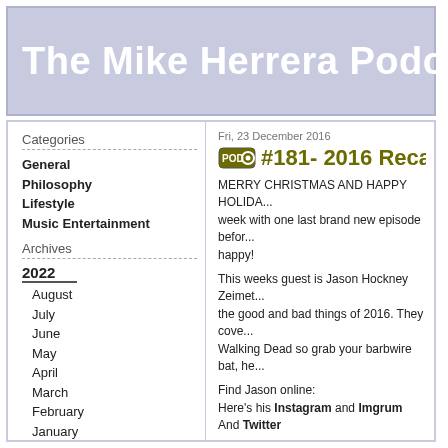The Mike Herrera Podcast
Categories
General
Philosophy
Lifestyle
Music Entertainment
Archives
2022
August
July
June
May
April
March
February
January
2021
December
November
Fri, 23 December 2016
#181- 2016 Recap: H
MERRY CHRISTMAS AND HAPPY HOLIDA... week with one last brand new episode befor... happy!
This weeks guest is Jason Hockney Zeimet. the good and bad things of 2016. They cove... Walking Dead so grab your barbwire bat, he...
Find Jason online:
Here’s his Instagram and Imgrum
And Twitter
Listen & Subscribe on iTunes | Stitcher | Ge... Friday and Sunday Nights and Tuesday Day...
Thanks to this week’s sponsors:
MERCH ARSENAL
MIKE Online: Website | YouTube | Facebo...
SHOW NOTES
Background, Context & Reference: